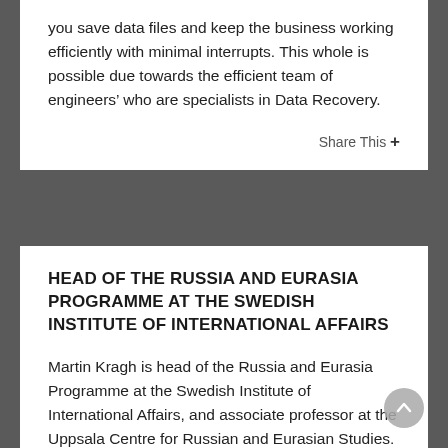you save data files and keep the business working efficiently with minimal interrupts. This whole is possible due towards the efficient team of engineers’ who are specialists in Data Recovery.
Share This +
HEAD OF THE RUSSIA AND EURASIA PROGRAMME AT THE SWEDISH INSTITUTE OF INTERNATIONAL AFFAIRS
Martin Kragh is head of the Russia and Eurasia Programme at the Swedish Institute of International Affairs, and associate professor at the Uppsala Centre for Russian and Eurasian Studies. He defended his PhD at the Stockholm School of Economics in 2008 and has additionally...